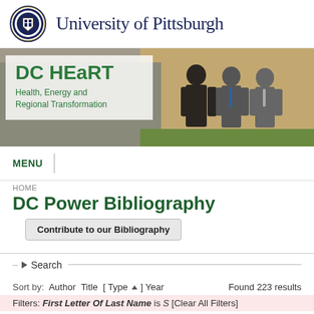[Figure (logo): University of Pittsburgh seal/logo and header with text 'University of Pittsburgh']
[Figure (photo): DC HEaRT banner with photo of three men in suits and overlay text 'DC HEaRT Health, Energy and Regional Transformation']
MENU
HOME
DC Power Bibliography
Contribute to our Bibliography
Search
Sort by:  Author  Title  [ Type ▲ ]  Year     Found 223 results
Filters: First Letter Of Last Name is S  [Clear All Filters]